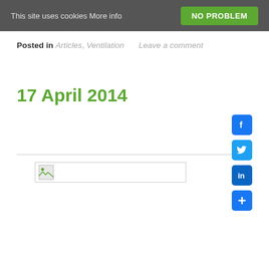This site uses cookies More info   NO PROBLEM
Posted in Articles, Ventilation   Leave a comment
17 April 2014
[Figure (other): Broken image placeholder thumbnail]